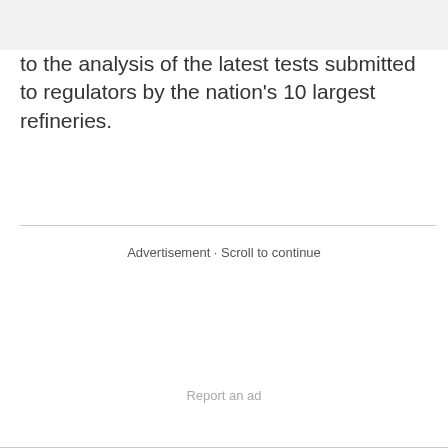to the analysis of the latest tests submitted to regulators by the nation's 10 largest refineries.
Advertisement · Scroll to continue
Report an ad